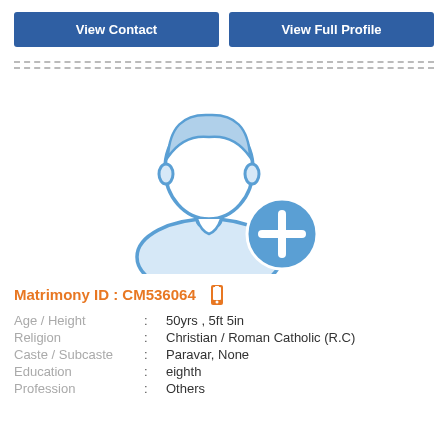View Contact
View Full Profile
[Figure (illustration): Placeholder male profile silhouette icon with a blue plus circle badge at bottom right]
Matrimony ID : CM536064
Age / Height : 50yrs , 5ft 5in
Religion : Christian / Roman Catholic (R.C)
Caste / Subcaste : Paravar, None
Education : eighth
Profession : Others